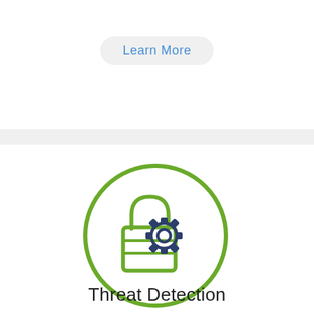Learn More
[Figure (illustration): A circular green-outlined icon containing a padlock symbol with horizontal bars and a gear/settings icon overlapping to the right, representing Threat Detection.]
Threat Detection